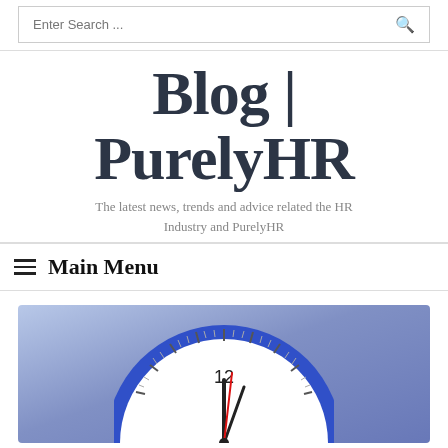Enter Search ...
Blog | PurelyHR
The latest news, trends and advice related the HR Industry and PurelyHR
Main Menu
[Figure (photo): A clock face with blue border showing the number 12, set against a blue/purple gradient background. Only the top half of the clock is visible.]